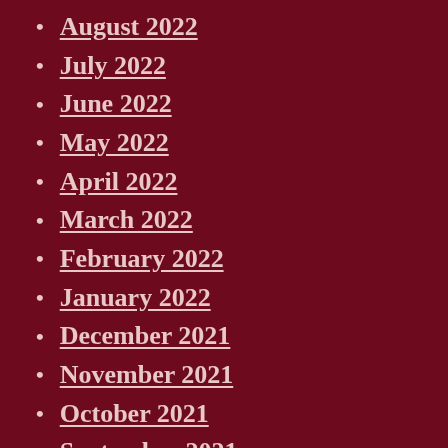August 2022
July 2022
June 2022
May 2022
April 2022
March 2022
February 2022
January 2022
December 2021
November 2021
October 2021
September 2021
August 2021
July 2021
June 2021
May 2021
April 2021